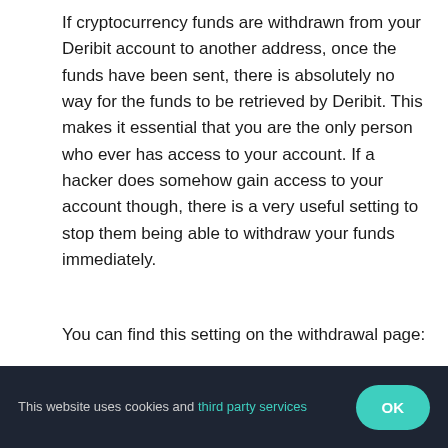If cryptocurrency funds are withdrawn from your Deribit account to another address, once the funds have been sent, there is absolutely no way for the funds to be retrieved by Deribit. This makes it essential that you are the only person who ever has access to your account. If a hacker does somehow gain access to your account though, there is a very useful setting to stop them being able to withdraw your funds immediately.
You can find this setting on the withdrawal page:
[Figure (screenshot): Screenshot of Deribit withdrawal settings UI showing 'Withdrawal settings external addresses and internal transfers' with text: Withdrawals to new addresses (external addresses and internal transfers) is active after 3 days (min 0, max 60 days). Confirm]
This website uses cookies and third party services